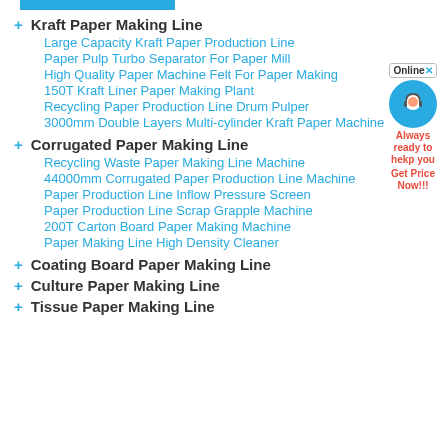+ Kraft Paper Making Line
Large Capacity Kraft Paper Production Line
Paper Pulp Turbo Separator For Paper Mill
High Quality Paper Machine Felt For Paper Making
150T Kraft Liner Paper Making Plant
Recycling Paper Production Line Drum Pulper
3000mm Double Layers Multi-cylinder Kraft Paper Machine
+ Corrugated Paper Making Line
Recycling Waste Paper Making Line Machine
44000mm Corrugated Paper Production Line Machine
Paper Production Line Inflow Pressure Screen
Paper Production Line Scrap Grapple Machine
200T Carton Board Paper Making Machine
Paper Making Line High Density Cleaner
+ Coating Board Paper Making Line
+ Culture Paper Making Line
+ Tissue Paper Making Line
[Figure (illustration): Online chat widget with headset mascot, 'Always ready to help you' and 'Get Price Now!!!' text]